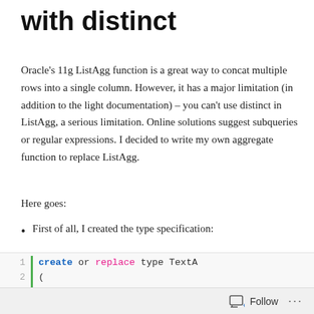with distinct
Oracle's 11g ListAgg function is a great way to concat multiple rows into a single column. However, it has a major limitation (in addition to the light documentation) – you can't use distinct in ListAgg, a serious limitation. Online solutions suggest subqueries or regular expressions. I decided to write my own aggregate function to replace ListAgg.
Here goes:
First of all, I created the type specification:
[Figure (screenshot): Code block showing Oracle SQL/PL SQL with line numbers 1-4 and a green vertical bar. Line 1: create or replace type TextA, Line 2: (, Line 3: aggString VARCHAR2(32767),, Line 4: static function ODCIAggr... (truncated)]
Follow ...